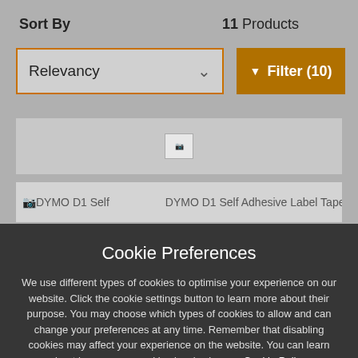Sort By    11 Products
[Figure (screenshot): Relevancy dropdown selector with orange border and dropdown arrow]
[Figure (screenshot): Orange Filter (10) button with funnel icon]
[Figure (screenshot): Product listing area showing a broken image icon and DYMO D1 Self Adhesive Label Tape product rows]
Cookie Preferences
We use different types of cookies to optimise your experience on our website. Click the cookie settings button to learn more about their purpose. You may choose which types of cookies to allow and can change your preferences at any time. Remember that disabling cookies may affect your experience on the website. You can learn about how we use cookies by viewing our Cookie Policy.
[Figure (screenshot): Amend Your Preference button (dark/black background)]
[Figure (screenshot): Accept All Cookies button (orange background with checkmark)]